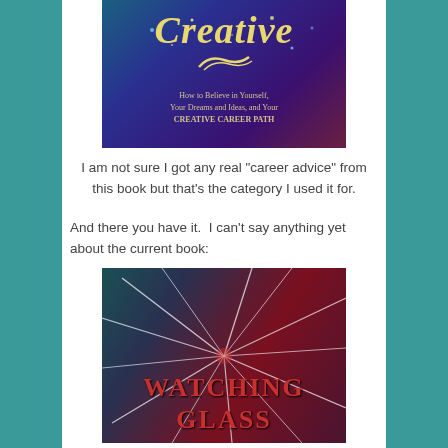[Figure (photo): Photo of a book cover reading 'Creative: How to Believe in Yourself, Your Dreams and Ideas, and Your CREATIVE CAREER PATH' with a blue/purple starry background and gold lettering]
I am not sure I got any real "career advice" from this book but that's the category I used it for.
And there you have it.  I can't say anything yet about the current book:
[Figure (photo): Photo of a book cover titled 'WATCHING GLASS' with a shattered glass effect design in red and teal colors]